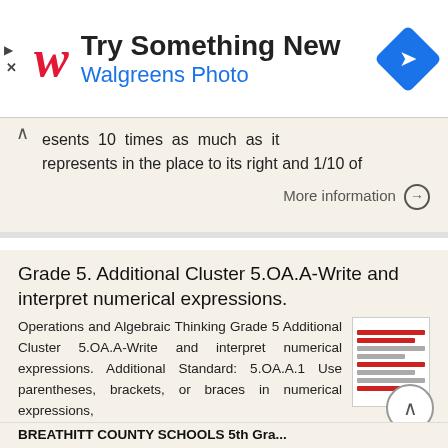[Figure (other): Walgreens Photo advertisement banner with logo, 'Try Something New' headline, and navigation icon]
esents 10 times as much as it represents in the place to its right and 1/10 of
More information →
Grade 5. Additional Cluster 5.OA.A-Write and interpret numerical expressions.
Operations and Algebraic Thinking Grade 5 Additional Cluster 5.OA.A-Write and interpret numerical expressions. Additional Standard: 5.OA.A.1 Use parentheses, brackets, or braces in numerical expressions,
More information →
BREATHITT COUNTY SCHOOLS 5th Gra...